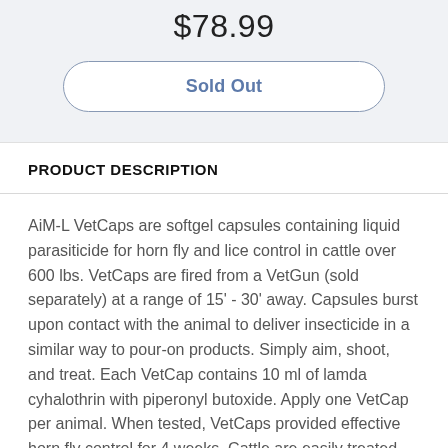$78.99
Sold Out
PRODUCT DESCRIPTION
AiM-L VetCaps are softgel capsules containing liquid parasiticide for horn fly and lice control in cattle over 600 lbs. VetCaps are fired from a VetGun (sold separately) at a range of 15' - 30' away. Capsules burst upon contact with the animal to deliver insecticide in a similar way to pour-on products. Simply aim, shoot, and treat. Each VetCap contains 10 ml of lamda cyhalothrin with piperonyl butoxide. Apply one VetCap per animal. When tested, VetCaps provided effective horn fly control for 4 weeks. Cattle are easily treated while milling around or